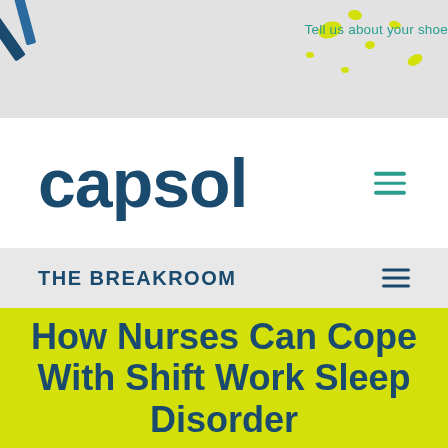[Figure (illustration): Website banner with light grey background, decorative yellow paint splatters and blue object in top-left corner. Text 'Tell us about your shoe' in teal on right side.]
[Figure (logo): Capsol logo in dark navy blue bold lowercase text, with hamburger menu icon in teal on the right]
THE BREAKROOM
How Nurses Can Cope With Shift Work Sleep Disorder